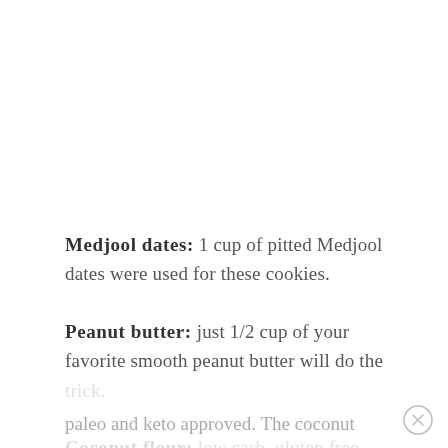Medjool dates: 1 cup of pitted Medjool dates were used for these cookies.
Peanut butter: just 1/2 cup of your favorite smooth peanut butter will do the trick.
Coconut flour: low carb, gluten free, paleo and keto approved. The coconut